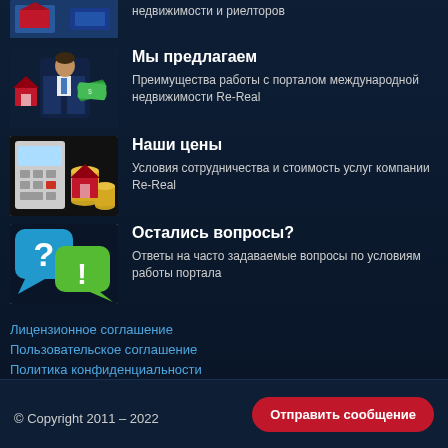[Figure (photo): Partial top image showing real estate related photo]
недвижимости и риелторов
[Figure (photo): Businessman in suit holding house and money]
Мы предлагаем
Преимущества работы с порталом международной недвижимости Re-Real
[Figure (photo): Coins and small house model on calculator]
Наши цены
Условия сотрудничества и стоимость услуг компании Re-Real
[Figure (photo): Blue and green speech bubbles with question mark and exclamation]
Остались вопросы?
Ответы на часто задаваемые вопросы по условиям работы портала
Лицензионное соглашение
Пользовательское соглашение
Политика конфиденциальности
Политика файлов cookie
© Copyright 2011 – 2022
Отправить сообщение